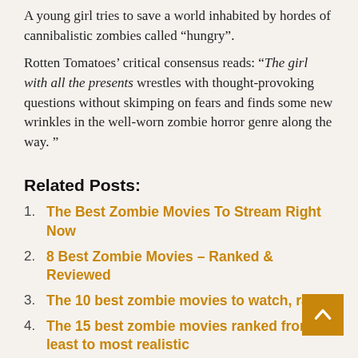A young girl tries to save a world inhabited by hordes of cannibalistic zombies called “hungy”.
Rotten Tomatoes’ critical consensus reads: “The girl with all the presents wrestles with thought-provoking questions without skimping on fears and finds some new wrinkles in the well-worn zombie horror genre along the way. ”
Related Posts:
The Best Zombie Movies To Stream Right Now
8 Best Zombie Movies – Ranked & Reviewed
The 10 best zombie movies to watch, ran…
The 15 best zombie movies ranked from least to most realistic